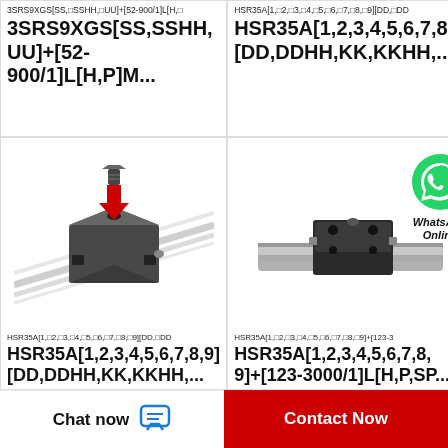3SRS9XGS[SS,□SSHH,□UU]+[52-900/1]L[H,□
3SRS9XGS[SS,SSHH,UU]+[52-900/1]L[H,P]M...
[Figure (photo): Linear guide rail block with screw on top and rail, shown at angle]
HSR35A[1,□2,□3,□4,□5,□6,□7,□8,□9][DD,□DD
HSR35A[1,2,3,4,5,6,7,8,9][DD,DDHH,KK,KKHH,...
[Figure (photo): Linear guide rail and carriage with WhatsApp Online badge overlay]
HSR35A[1,□2,□3,□4,□5,□6,□7,□8,□9][DD,□DD
HSR35A[1,2,3,4,5,6,7,8,9][DD,DDHH,KK,KKHH,...
HSR35A[1,□2,□3,□4,□5,□6,□7,□8,□9]+[123-3
HSR35A[1,2,3,4,5,6,7,8,9]+[123-3000/1]L[H,P,SP...
Chat now
Contact Now